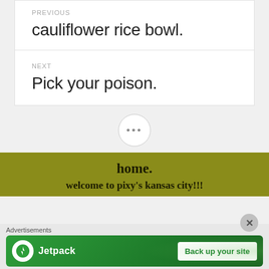PREVIOUS
cauliflower rice bowl.
NEXT
Pick your poison.
•••
home.
welcome to pixy's kansas city!!!
Advertisements
[Figure (screenshot): Jetpack advertisement banner with logo and 'Back up your site' button]